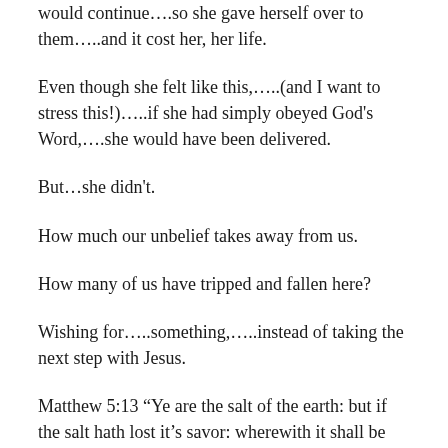would continue….so she gave herself over to them…..and it cost her, her life.
Even though she felt like this,…..(and I want to stress this!)…..if she had simply obeyed God's Word,….she would have been delivered.
But…she didn't.
How much our unbelief takes away from us.
How many of us have tripped and fallen here?
Wishing for…..something,…..instead of taking the next step with Jesus.
Matthew 5:13 “Ye are the salt of the earth: but if the salt hath lost it’s savor: wherewith it shall be salted? It is